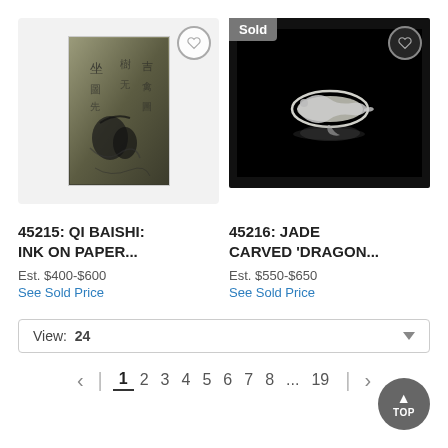[Figure (photo): Chinese ink on paper artwork showing calligraphy and bird/nature motifs in greyscale]
[Figure (photo): Jade carved dragon ornament on black background with 'Sold' badge]
45215: QI BAISHI: INK ON PAPER...
Est. $400-$600
See Sold Price
45216: JADE CARVED 'DRAGON...
Est. $550-$650
See Sold Price
View: 24
< | 1 2 3 4 5 6 7 8 ... 19 | >